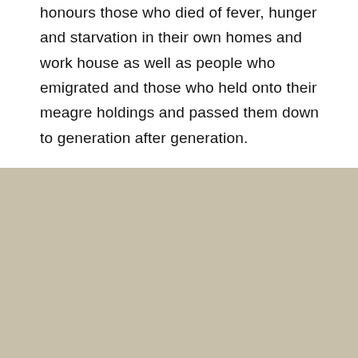honours those who died of fever, hunger and starvation in their own homes and work house as well as people who emigrated and those who held onto their meagre holdings and passed them down to generation after generation.
NAVIGATION
> Home
> Accommodation